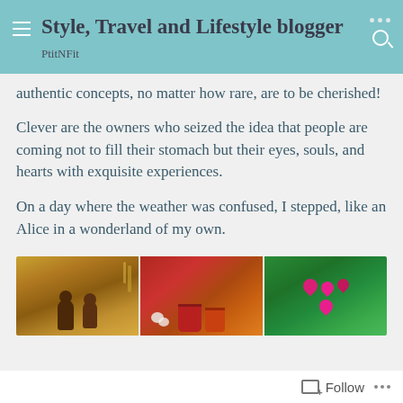Style, Travel and Lifestyle blogger
PtitNFit
authentic concepts, no matter how rare, are to be cherished!
Clever are the owners who seized the idea that people are coming not to fill their stomach but their eyes, souls, and hearts with exquisite experiences.
On a day where the weather was confused, I stepped, like an Alice in a wonderland of my own.
[Figure (photo): Three photos side by side: left shows two chocolate figurines on a shelf with warm yellow light; center shows red and orange flower buckets with white roses; right shows pink roses against a green leafy background.]
Follow ...